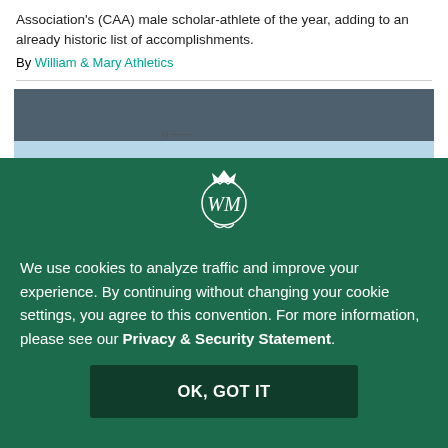Association's (CAA) male scholar-athlete of the year, adding to an already historic list of accomplishments.
By William & Mary Athletics
[Figure (photo): Partial photo of a sports/athletics scene with dark blue-grey background and light blue lower portion]
[Figure (logo): William & Mary monogram logo (WM cypher with crown) in white on dark green background]
We use cookies to analyze traffic and improve your experience. By continuing without changing your cookie settings, you agree to this convention. For more information, please see our Privacy & Security Statement.
OK, GOT IT
Fertile Ground
By William & Mary Athletics